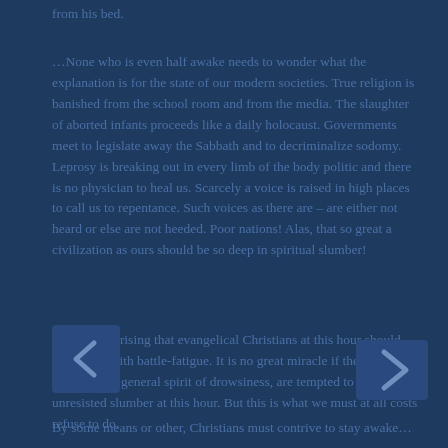from his bed.
…None who is even half awake needs to wonder what the explanation is for the state of our modern societies. True religion is banished from the school room and from the media. The slaughter of aborted infants proceeds like a daily holocaust. Governments meet to legislate away the Sabbath and to decriminalize sodomy. Leprosy is breaking out in every limb of the body politic and there is no physician to heal us. Scarcely a voice is raised in high places to call us to repentance. Such voices as there are – are either not heard or else are not heeded. Poor nations! Alas, that so great a civilization as ours should be so deep in spiritual slumber!
It is not surprising that evangelical Christians at this hour should feel numb with battle-fatigue. It is no great miracle if they too, catching the general spirit of drowsiness, are tempted to yield to unresisted slumber at this hour. But this is what we must at all costs refuse to do.
By some means or other, Christians must contrive to stay awake…